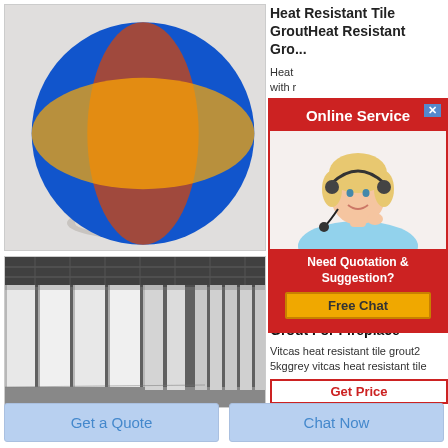[Figure (photo): White powder material piled in a glass dish/cup on a white background, with a small Rongsheng logo (globe icon) and text 'Rongsheng' in top-left corner]
Heat Resistant Tile GroutHeat Resistant Gro...
Heat... with r...
[Figure (infographic): Online Service popup with red header bar, close X button, photo of blonde woman with headset smiling, 'Need Quotation & Suggestion?' text in red bar, and yellow 'Free Chat' button]
[Figure (photo): Large industrial warehouse interior showing tall white/light grey panels or boards stacked vertically, with roof trusses visible above]
Vitcas Heat Resistant Tile Grout For Fireplace
Vitcas heat resistant tile grout2 5kggrey vitcas heat resistant tile
Get Price
Get a Quote
Chat Now